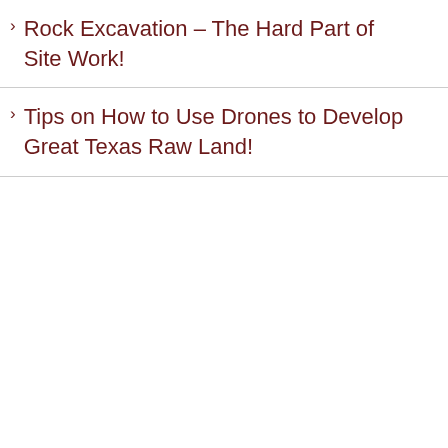Rock Excavation – The Hard Part of Site Work!
Tips on How to Use Drones to Develop Great Texas Raw Land!